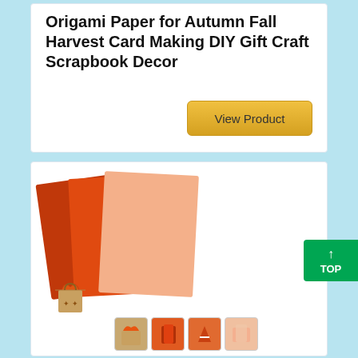Origami Paper for Autumn Fall Harvest Card Making DIY Gift Craft Scrapbook Decor
View Product
[Figure (photo): Product photo of orange and peach colored craft/origami paper sheets fanned out, with small thumbnail images below showing various craft products including a gift bag, and orange paper crafts]
↑ TOP